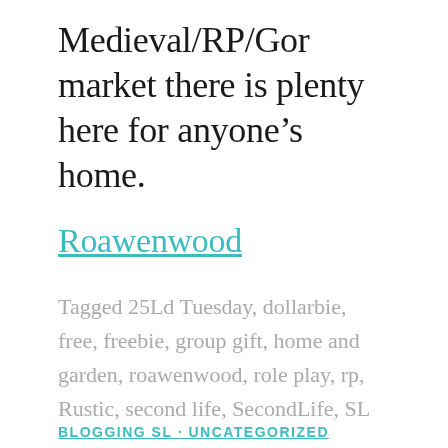Medieval/RP/Gor market there is plenty here for anyone's home.
Roawenwood
Tagged 25Ld Tuesday, dollarbie, free, freebie, group gift, home and garden, roawenwood, role play, rp, Rustic, second life, SecondLife, SL
BLOGGING SL · UNCATEGORIZED